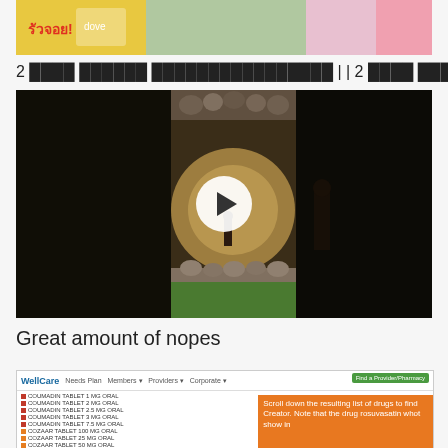[Figure (photo): Top banner image with colorful cartoon/promotional content in Thai]
2 ████ ██████ ████████████████ | | 2 ████ ████████
[Figure (screenshot): Video player showing a dark game scene with a play button overlay]
Great amount of nopes
[Figure (screenshot): WellCare website screenshot showing a drug list with an orange instructional overlay box saying 'Scroll down the resulting list of drugs to find Creator. Note that the drug rosuvasatin whot show in']